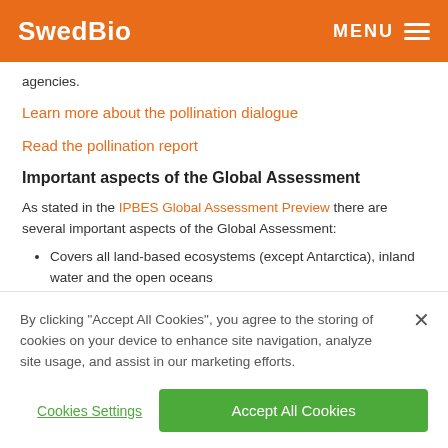SwedBio | MENU
agencies.
Learn more about the pollination dialogue
Read the pollination report
Important aspects of the Global Assessment
As stated in the IPBES Global Assessment Preview there are several important aspects of the Global Assessment:
Covers all land-based ecosystems (except Antarctica), inland water and the open oceans
Evaluates changes over the past 50 years — and implications for our economies, livelihoods, food security and quality of
By clicking "Accept All Cookies", you agree to the storing of cookies on your device to enhance site navigation, analyze site usage, and assist in our marketing efforts.
Cookies Settings
Accept All Cookies